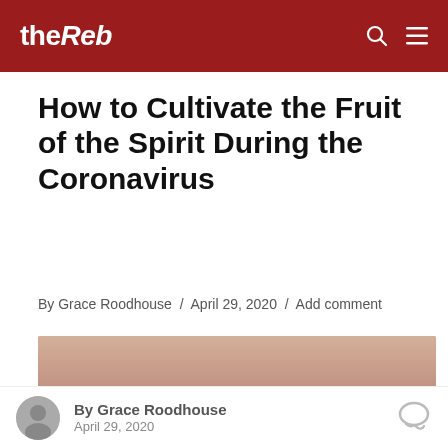theReb
How to Cultivate the Fruit of the Spirit During the Coronavirus
By Grace Roodhouse / April 29, 2020 / Add comment
[Figure (photo): Silhouettes of a group of people jumping with arms raised against a warm gradient sky background]
By Grace Roodhouse
April 29, 2020